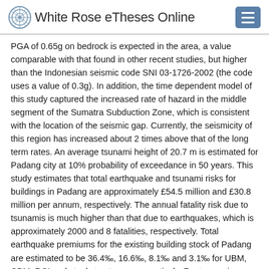White Rose eTheses Online
PGA of 0.65g on bedrock is expected in the area, a value comparable with that found in other recent studies, but higher than the Indonesian seismic code SNI 03-1726-2002 (the code uses a value of 0.3g). In addition, the time dependent model of this study captured the increased rate of hazard in the middle segment of the Sumatra Subduction Zone, which is consistent with the location of the seismic gap. Currently, the seismicity of this region has increased about 2 times above that of the long term rates. An average tsunami height of 20.7 m is estimated for Padang city at 10% probability of exceedance in 50 years. This study estimates that total earthquake and tsunami risks for buildings in Padang are approximately £54.5 million and £30.8 million per annum, respectively. The annual fatality risk due to tsunamis is much higher than that due to earthquakes, which is approximately 2000 and 8 fatalities, respectively. Total earthquake premiums for the existing building stock of Padang are estimated to be 36.4‰, 16.6‰, 8.1‰ and 3.1‰ for UBM, CBM, RCI and steel structures, respectively. For tsunami hazard, the